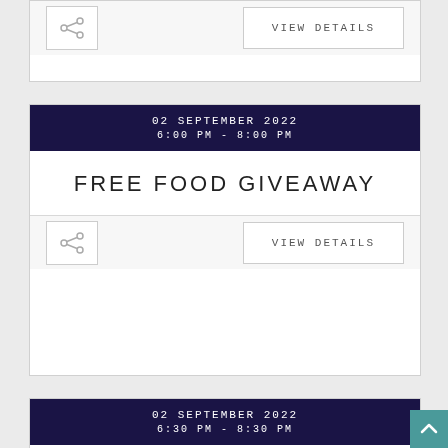VIEW DETAILS
02 SEPTEMBER 2022
6:00 PM - 8:00 PM
FREE FOOD GIVEAWAY
VIEW DETAILS
02 SEPTEMBER 2022
6:30 PM - 8:30 PM
CELEBRATE RECOVERY